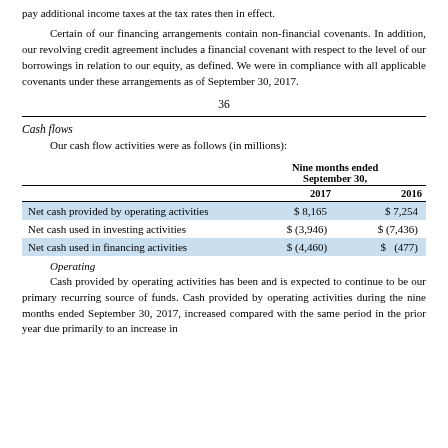pay additional income taxes at the tax rates then in effect.
Certain of our financing arrangements contain non-financial covenants. In addition, our revolving credit agreement includes a financial covenant with respect to the level of our borrowings in relation to our equity, as defined. We were in compliance with all applicable covenants under these arrangements as of September 30, 2017.
36
Cash flows
Our cash flow activities were as follows (in millions):
|  | Nine months ended September 30, 2017 | Nine months ended September 30, 2016 |
| --- | --- | --- |
| Net cash provided by operating activities | $ 8,165 | $ 7,254 |
| Net cash used in investing activities | $ (3,946) | $ (7,436) |
| Net cash used in financing activities | $ (4,460) | $ (477) |
Operating
Cash provided by operating activities has been and is expected to continue to be our primary recurring source of funds. Cash provided by operating activities during the nine months ended September 30, 2017, increased compared with the same period in the prior year due primarily to an increase in